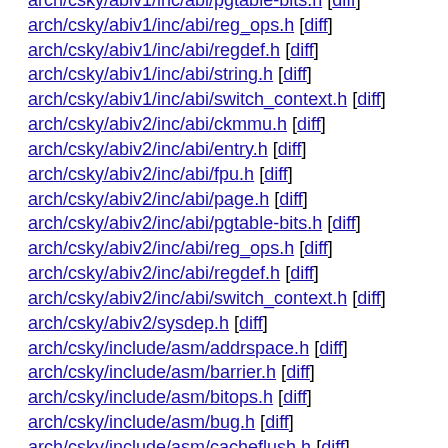arch/csky/abiv1/inc/abi/pgtable-bits.h [diff]
arch/csky/abiv1/inc/abi/reg_ops.h [diff]
arch/csky/abiv1/inc/abi/regdef.h [diff]
arch/csky/abiv1/inc/abi/string.h [diff]
arch/csky/abiv1/inc/abi/switch_context.h [diff]
arch/csky/abiv2/inc/abi/ckmmu.h [diff]
arch/csky/abiv2/inc/abi/entry.h [diff]
arch/csky/abiv2/inc/abi/fpu.h [diff]
arch/csky/abiv2/inc/abi/page.h [diff]
arch/csky/abiv2/inc/abi/pgtable-bits.h [diff]
arch/csky/abiv2/inc/abi/reg_ops.h [diff]
arch/csky/abiv2/inc/abi/regdef.h [diff]
arch/csky/abiv2/inc/abi/switch_context.h [diff]
arch/csky/abiv2/sysdep.h [diff]
arch/csky/include/asm/addrspace.h [diff]
arch/csky/include/asm/barrier.h [diff]
arch/csky/include/asm/bitops.h [diff]
arch/csky/include/asm/bug.h [diff]
arch/csky/include/asm/cacheflush.h [diff]
arch/csky/include/asm/checksum.h [diff]